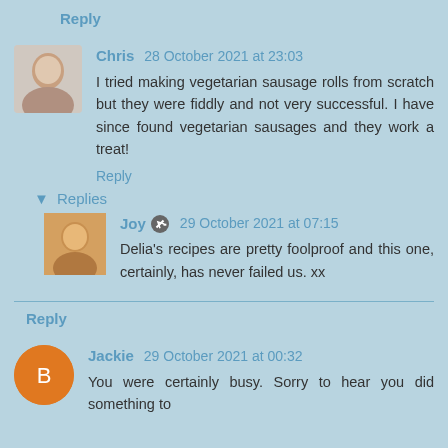Reply
Chris 28 October 2021 at 23:03
I tried making vegetarian sausage rolls from scratch but they were fiddly and not very successful. I have since found vegetarian sausages and they work a treat!
Reply
▾ Replies
Joy 29 October 2021 at 07:15
Delia's recipes are pretty foolproof and this one, certainly, has never failed us. xx
Reply
Jackie 29 October 2021 at 00:32
You were certainly busy. Sorry to hear you did something to